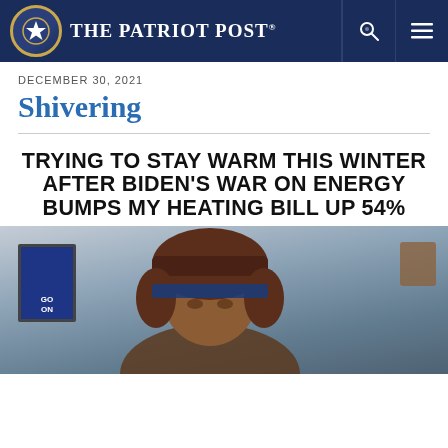The Patriot Post
DECEMBER 30, 2021
Shivering
[Figure (illustration): Meme image with bold black text on white background reading: TRYING TO STAY WARM THIS WINTER AFTER BIDEN'S WAR ON ENERGY BUMPS MY HEATING BILL UP 54%, above a photo of a man in a heavy winter hat and coat seated at a desk]